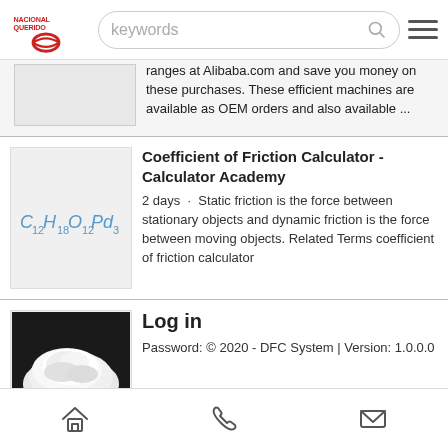NacionalQuerido logo, keywords search bar, hamburger menu
ranges at Alibaba.com and save you money on these purchases. These efficient machines are available as OEM orders and also available ...
Coefficient of Friction Calculator - Calculator Academy
2 days · Static friction is the force between stationary objects and dynamic friction is the force between moving objects. Related Terms coefficient of friction calculator
Log in
Password: © 2020 - DFC System | Version: 1.0.0.0
Models and computational
Home, Phone, Mail navigation icons